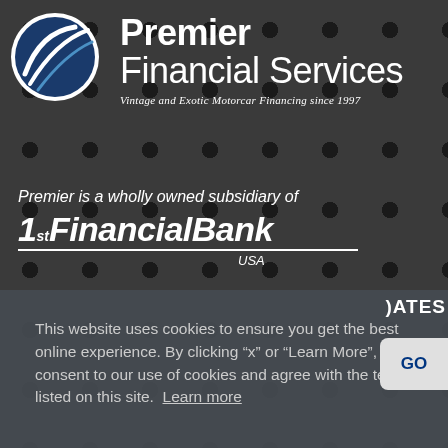[Figure (logo): Premier Financial Services logo: circular emblem with blue background and white swoosh lines, beside bold text 'Premier Financial Services' with italic tagline 'Vintage and Exotic Motorcar Financing since 1997']
Premier is a wholly owned subsidiary of
[Figure (logo): 1st FinancialBank USA logo in bold italic white text with underline and 'USA' label]
This website uses cookies to ensure you get the best online experience. By clicking “x” or “Learn More”, you consent to our use of cookies and agree with the terms listed on this site. Learn more
DATES
GO